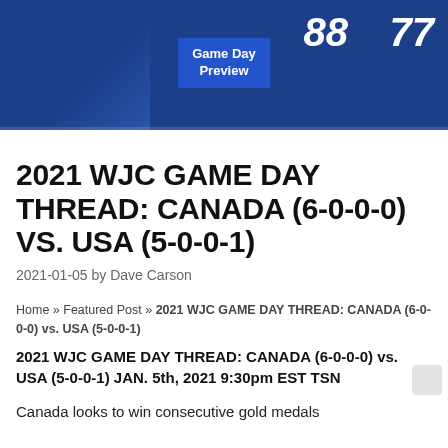[Figure (photo): Hockey players in blue jerseys with numbers 88 and 77, with a 'Game Day Preview' badge overlay on a dark blue background]
2021 WJC GAME DAY THREAD: CANADA (6-0-0-0) VS. USA (5-0-0-1)
2021-01-05 by Dave Carson
Home » Featured Post » 2021 WJC GAME DAY THREAD: CANADA (6-0-0-0) vs. USA (5-0-0-1)
2021 WJC GAME DAY THREAD: CANADA (6-0-0-0) vs. USA (5-0-0-1) JAN. 5th, 2021 9:30pm EST TSN
Canada looks to win consecutive gold medals